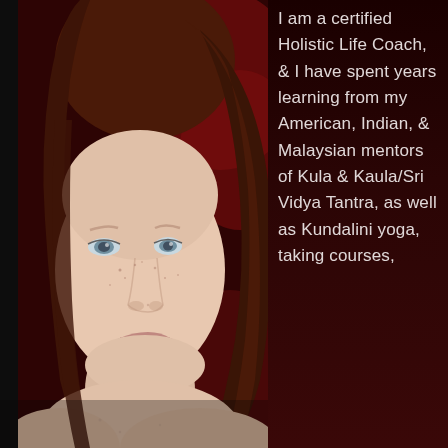[Figure (photo): Close-up portrait of a woman with long auburn/red hair, light skin with freckles, light eyes, and a slight smile, photographed against a dark red background. The photo occupies the left two-thirds of the page.]
I am a certified Holistic Life Coach, & I have spent years learning from my American, Indian, & Malaysian mentors of Kula & Kaula/Sri Vidya Tantra, as well as Kundalini yoga, taking courses,